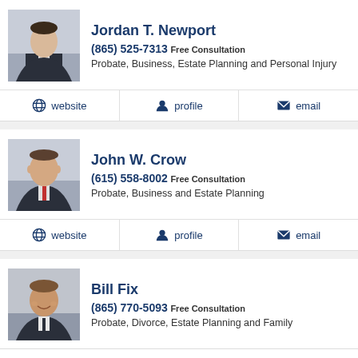[Figure (photo): Headshot of Jordan T. Newport, young man in dark suit]
Jordan T. Newport
(865) 525-7313 Free Consultation
Probate, Business, Estate Planning and Personal Injury
website
profile
email
[Figure (photo): Headshot of John W. Crow, older man in dark suit with red tie]
John W. Crow
(615) 558-8002 Free Consultation
Probate, Business and Estate Planning
website
profile
email
[Figure (photo): Headshot of Bill Fix, younger man in suit, smiling]
Bill Fix
(865) 770-5093 Free Consultation
Probate, Divorce, Estate Planning and Family